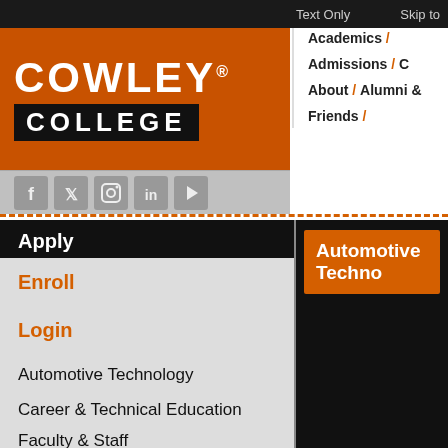Text Only   Skip to
[Figure (logo): Cowley College logo - orange background with white bold text COWLEY and black bar with white text COLLEGE]
Academics / Admissions / C
About / Alumni & Friends /
[Figure (illustration): Social media icons: Facebook, Twitter, Instagram, LinkedIn, YouTube on gray bar]
Apply
Enroll
Login
Automotive Technology
Career & Technical Education
Faculty & Staff
CTE Center Locations
Ark City Vocational Tech
Mulvane Automotive Tech
Automotive Techno